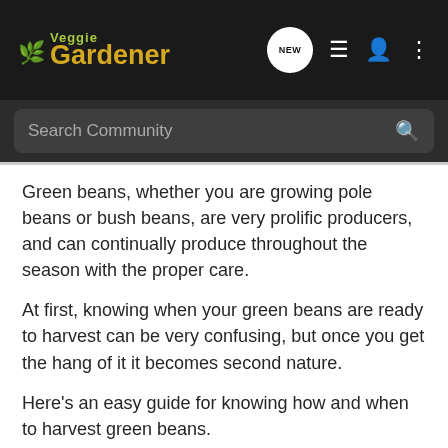Veggie Gardener
Search Community
Green beans, whether you are growing pole beans or bush beans, are very prolific producers, and can continually produce throughout the season with the proper care.
At first, knowing when your green beans are ready to harvest can be very confusing, but once you get the hang of it it becomes second nature.
Here's an easy guide for knowing how and when to harvest green beans.
When to Harvest Green B…